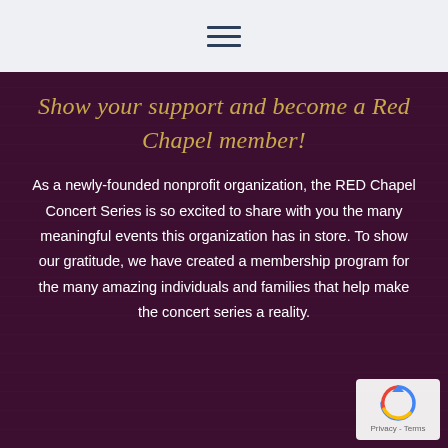☰
Show your support and become a Red Chapel member!
As a newly-founded nonprofit organization, the RED Chapel Concert Series is so excited to share with you the many meaningful events this organization has in store. To show our gratitude, we have created a membership program for the many amazing individuals and families that help make the concert series a reality.
[Figure (logo): reCAPTCHA badge with spinning arrow logo and Privacy - Terms text]